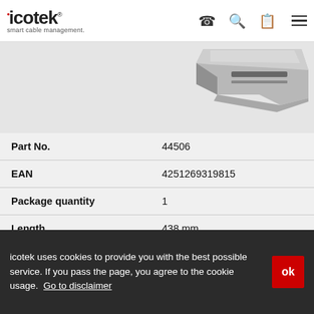icotek smart cable management.
[Figure (photo): Product photo of an icotek cable management component, grey metallic rail/bracket, partially visible at top right of the grey background area.]
| Part No. | 44506 |
| EAN | 4251269319815 |
| Package quantity | 1 |
| Length | 438 mm |
| Width | 100 mm |
| Height | 43 mm |
icotek uses cookies to provide you with the best possible service. If you pass the page, you agree to the cookie usage. Go to disclaimer